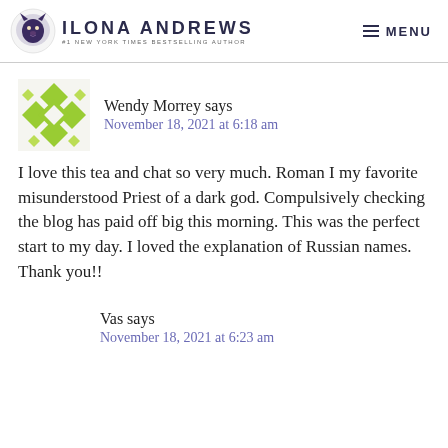Ilona Andrews — #1 New York Times Bestselling Author | MENU
Wendy Morrey says
November 18, 2021 at 6:18 am
I love this tea and chat so very much. Roman I my favorite misunderstood Priest of a dark god. Compulsively checking the blog has paid off big this morning. This was the perfect start to my day. I loved the explanation of Russian names. Thank you!!
Vas says
November 18, 2021 at 6:23 am